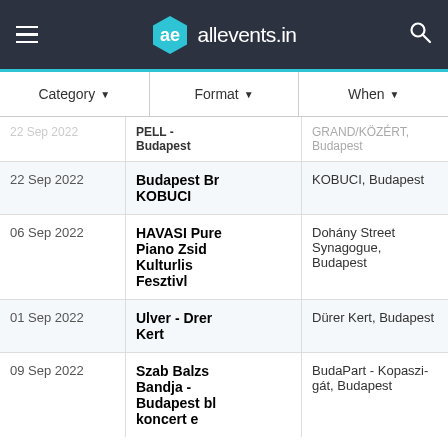ae allevents.in
| Date | Event | Venue |
| --- | --- | --- |
| 22 Sep 2022 (partial) | PELL - Budapest | GRAND/KÖZÉRT, Budapest |
| 22 Sep 2022 | Budapest Br KOBUCI | KOBUCI, Budapest |
| 06 Sep 2022 | HAVASI Pure Piano Zsid Kulturlis Fesztivl | Dohány Street Synagogue, Budapest |
| 01 Sep 2022 | Ulver - Drer Kert | Dürer Kert, Budapest |
| 09 Sep 2022 | Szab Balzs Bandja - Budapest bl koncert e | BudaPart - Kopaszi-gát, Budapest |